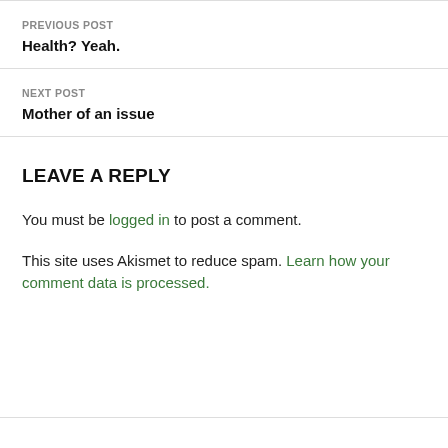PREVIOUS POST
Health? Yeah.
NEXT POST
Mother of an issue
LEAVE A REPLY
You must be logged in to post a comment.
This site uses Akismet to reduce spam. Learn how your comment data is processed.